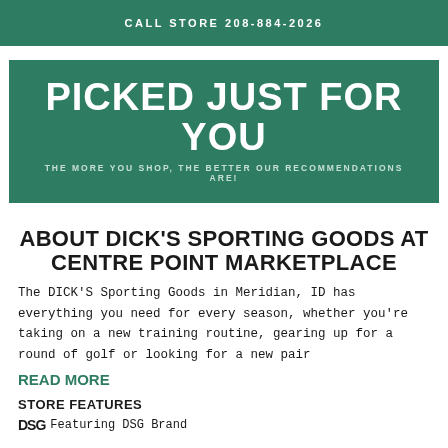CALL STORE 208-884-2026
PICKED JUST FOR YOU
THE MORE YOU SHOP, THE BETTER OUR RECOMMENDATIONS ARE!
ABOUT DICK'S SPORTING GOODS AT CENTRE POINT MARKETPLACE
The DICK'S Sporting Goods in Meridian, ID has everything you need for every season, whether you're taking on a new training routine, gearing up for a round of golf or looking for a new pair
READ MORE
STORE FEATURES
DSG Featuring DSG Brand